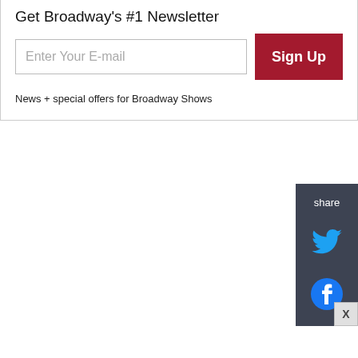Get Broadway's #1 Newsletter
Enter Your E-mail
Sign Up
News + special offers for Broadway Shows
share
[Figure (logo): Twitter bird icon in cyan blue]
[Figure (logo): Facebook circle icon in blue]
X